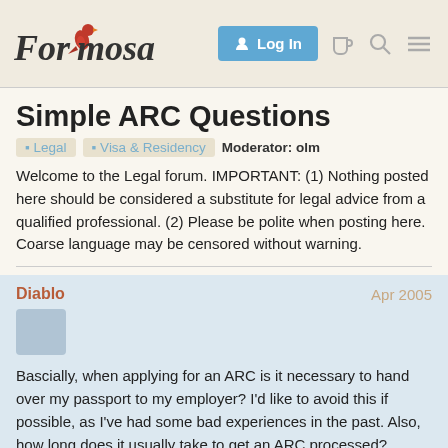Forumosa — Log In
Simple ARC Questions
Legal  Visa & Residency  Moderator: olm
Welcome to the Legal forum. IMPORTANT: (1) Nothing posted here should be considered a substitute for legal advice from a qualified professional. (2) Please be polite when posting here. Coarse language may be censored without warning.
Diablo — Apr 2005

Bascially, when applying for an ARC is it necessary to hand over my passport to my employer? I'd like to avoid this if possible, as I've had some bad experiences in the past. Also, how long does it usually take to get an ARC processed?

Many thanks.

PS: I'm sure this info has been posted befo
1 / 7